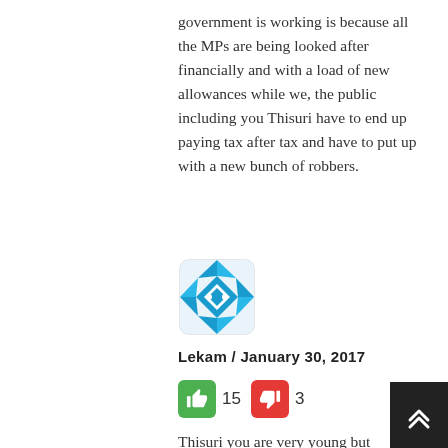government is working is because all the MPs are being looked after financially and with a load of new allowances while we, the public including you Thisuri have to end up paying tax after tax and have to put up with a new bunch of robbers.
[Figure (illustration): User avatar icon with geometric blue and white diamond pattern on a square with rounded corners]
Lekam / January 30, 2017
[Figure (infographic): Green thumbs-up button with count 15, red thumbs-down button with count 3]
Thisuri you are very young but appreciate your braveness.You only think Sri lankan political history begins from MR period. We have gone through much dangerous threats